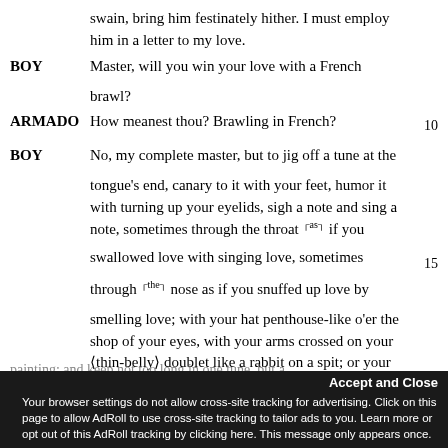swain, bring him festinately hither. I must employ him in a letter to my love.
BOY   Master, will you win your love with a French brawl?
ARMADO   How meanest thou? Brawling in French?   10
BOY   No, my complete master, but to jig off a tune at the tongue's end, canary to it with your feet, humor it with turning up your eyelids, sigh a note and sing a note, sometimes through the throat [as] if you swallowed love with singing love, sometimes   15 through [the] nose as if you snuffed up love by smelling love; with your hat penthouse-like o'er the shop of your eyes, with your arms crossed on your (thin-belly) doublet like a rabbit on a spit; or your hands in your pocket like a man after the old   20
painting; and keep not too long in one tune, but a
humors; these betray nice wenches that would be
Your browser settings do not allow cross-site tracking for advertising. Click on this page to allow AdRoll to use cross-site tracking to tailor ads to you. Learn more or opt out of this AdRoll tracking by clicking here. This message only appears once.